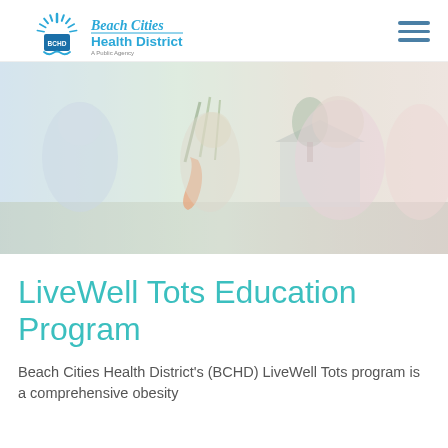[Figure (logo): Beach Cities Health District (BCHD) logo with sun/wave emblem and text 'Beach Cities Health District - A Public Agency']
[Figure (photo): Children outdoors holding carrots, engaged in a garden or produce activity. Bright natural light, washed-out/faded color treatment.]
LiveWell Tots Education Program
Beach Cities Health District's (BCHD) LiveWell Tots program is a comprehensive obesity